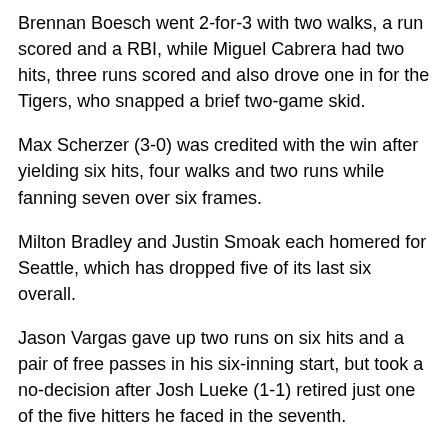Brennan Boesch went 2-for-3 with two walks, a run scored and a RBI, while Miguel Cabrera had two hits, three runs scored and also drove one in for the Tigers, who snapped a brief two-game skid.
Max Scherzer (3-0) was credited with the win after yielding six hits, four walks and two runs while fanning seven over six frames.
Milton Bradley and Justin Smoak each homered for Seattle, which has dropped five of its last six overall.
Jason Vargas gave up two runs on six hits and a pair of free passes in his six-inning start, but took a no-decision after Josh Lueke (1-1) retired just one of the five hitters he faced in the seventh.
Brandon Inge started the game-changing inning with a